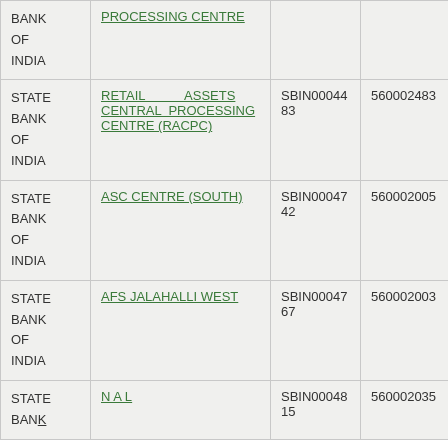| Bank | Branch | IFSC | MICR |
| --- | --- | --- | --- |
| BANK OF INDIA | PROCESSING CENTRE |  |  |
| STATE BANK OF INDIA | RETAIL ASSETS CENTRAL PROCESSING CENTRE (RACPC) | SBIN0004483 | 560002483 |
| STATE BANK OF INDIA | ASC CENTRE (SOUTH) | SBIN0004742 | 560002005 |
| STATE BANK OF INDIA | AFS JALAHALLI WEST | SBIN0004767 | 560002003 |
| STATE BANK OF INDIA | NAL | SBIN0004815 | 560002035 |